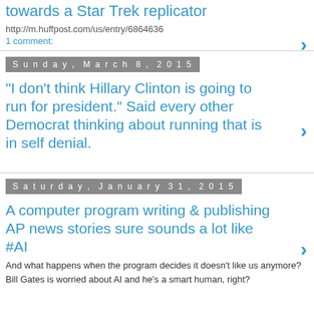towards a Star Trek replicator
http://m.huffpost.com/us/entry/6864636
1 comment:
Sunday, March 8, 2015
"I don't think Hillary Clinton is going to run for president." Said every other Democrat thinking about running that is in self denial.
Saturday, January 31, 2015
A computer program writing & publishing AP news stories sure sounds a lot like #AI
And what happens when the program decides it doesn't like us anymore? Bill Gates is worried about AI and he's a smart human, right?